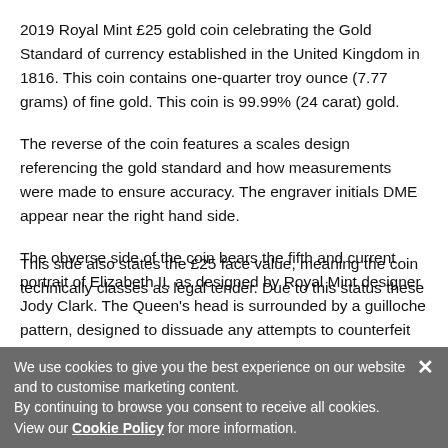2019 Royal Mint £25 gold coin celebrating the Gold Standard of currency established in the United Kingdom in 1816. This coin contains one-quarter troy ounce (7.77 grams) of fine gold. This coin is 99.99% (24 carat) gold.
The reverse of the coin features a scales design referencing the gold standard and how measurements were made to ensure accuracy. The engraver initials DME appear near the right hand side.
The obverse side of the coin bears the fifth and current portrait of Elizabeth II, as designed by Royal Mint designer Jody Clark. The Queen's head is surrounded by a guilloche pattern, designed to dissuade any attempts to counterfeit the
This side also states the £25 face value, meaning the coin technically classes as legal tender. Due to this status these
We use cookies to give you the best experience on our website and to customise marketing content. By continuing to browse you consent to receive all cookies. View our Cookie Policy for more information.